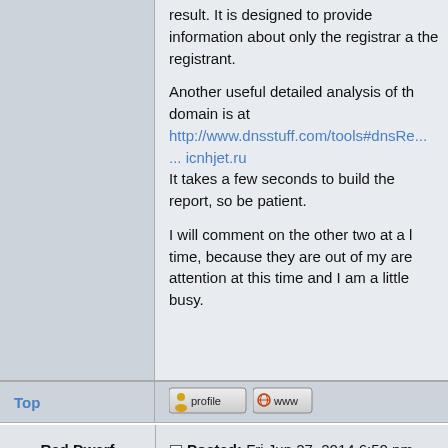result. It is designed to provide information about only the registrar and the registrant.

Another useful detailed analysis of the domain is at http://www.dnsstuff.com/tools#dnsRe... icnhjet.ru
It takes a few seconds to build the report, so be patient.

I will comment on the other two at a later time, because they are out of my area of attention at this time and I am a little busy.
Top
Red Dwarf
Posted: Fri Jun 27, 2014 6:50 pm